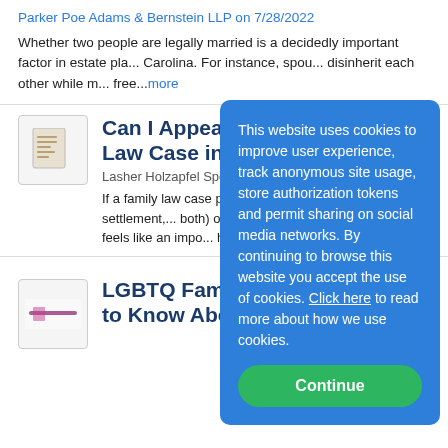Parker Poe Adams & Bernstein LLP on 7/28/2022
Whether two people are legally married is a decidedly important factor in estate pla... Carolina. For instance, spou... disinherit each other while m... free...more
[Figure (other): Thumbnail image of a document icon]
Can I Appeal a Re... Law Case in Was...
Lasher Holzapfel Sperry & B...
If a family law case proceed... way other than a settlement,... both) of the parties is unhap... one party feels like an impo... her...more
[Figure (other): Thumbnail image of law firm logo]
LGBTQ Families: What you Need to Know About Confirmatory
[Figure (infographic): Cookie consent overlay popup with blue background. Text reads: This website uses cookies to improve user experience, track anonymous site usage, store authorization tokens and permit sharing on social media networks. By continuing to browse this website you accept the use of cookies. Click here to read more about how we use cookies. Green Continue button at bottom.]